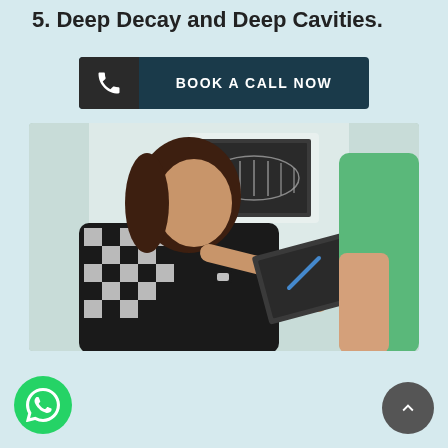5. Deep Decay and Deep Cavities.
[Figure (other): Dark teal/navy button with phone icon on left side and text 'BOOK A CALL NOW' on right side]
[Figure (photo): A woman sitting in a dental chair looking at a dental X-ray being shown to her by a dentist in a green shirt. The patient has dark hair and is wearing a black and white checkered top.]